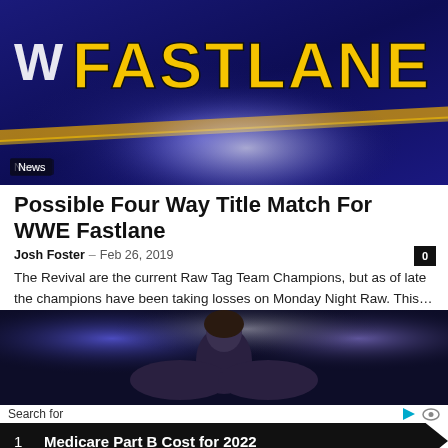[Figure (photo): WWE Fastlane event banner with gold and blue logo on dark blue background with light rays]
News
Possible Four Way Title Match For WWE Fastlane
Josh Foster – Feb 26, 2019
The Revival are the current Raw Tag Team Champions, but as of late the champions have been taking losses on Monday Night Raw. This...
[Figure (photo): Wrestler with long hair on stage with bright lights and crowd in background]
Search for
1   Medicare Part B Cost for 2022
2   Cheapest Car Insurance Companies